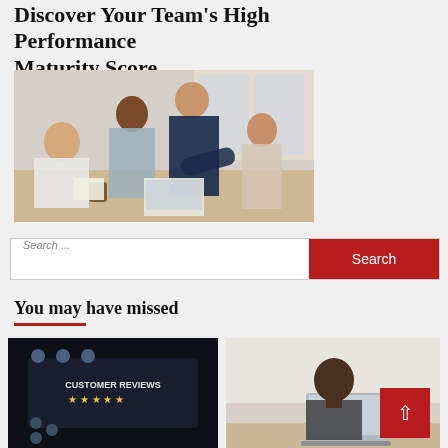Discover Your Team's High Performance Maturity Score
[Figure (photo): Group of four diverse professionals gathered around a table, collaborating and looking at documents or a laptop.]
Search ...
You may have missed
[Figure (photo): Dark background image showing a customer reviews screen with star ratings and user icons.]
[Figure (photo): Image of a bald Black man looking at a laptop screen in an office setting.]